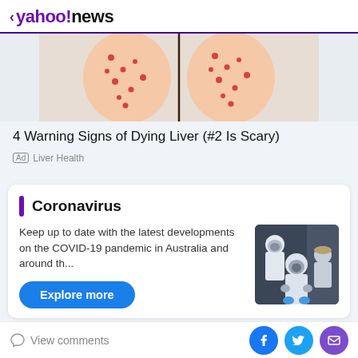< yahoo!news
[Figure (illustration): Partial illustration of legs/back with red spots indicating liver disease symptoms]
4 Warning Signs of Dying Liver (#2 Is Scary)
Ad Liver Health
Coronavirus
Keep up to date with the latest developments on the COVID-19 pandemic in Australia and around th...
[Figure (photo): People in white hazmat suits and gas masks, COVID-19 PPE gear]
Explore more
View comments